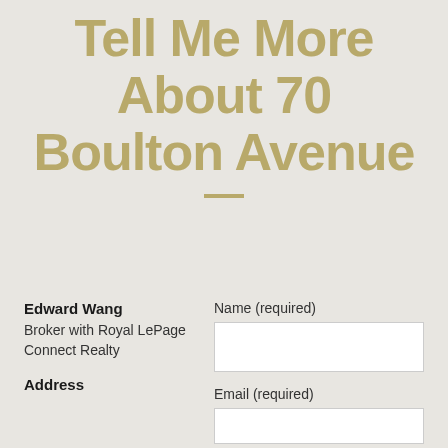Tell Me More About 70 Boulton Avenue
Edward Wang
Broker with Royal LePage Connect Realty
Address
Name (required)
Email (required)